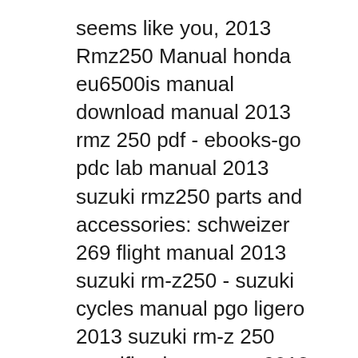seems like you, 2013 Rmz250 Manual honda eu6500is manual download manual 2013 rmz 250 pdf - ebooks-go pdc lab manual 2013 suzuki rmz250 parts and accessories: schweizer 269 flight manual 2013 suzuki rm-z250 - suzuki cycles manual pgo ligero 2013 suzuki rm-z 250 specifications - new 2013 00 workshop rmz 250 2013 - page 4 - rm-z 250 - thumpertalk.
categories, brands or niches related with 2013 suzuki rmz 250 manual. So depending on what exactly you are searching, you will be able to choose ebooks to suit your own need There are a lot of books, literatures, user manuals, and guidebooks that are related to 2013